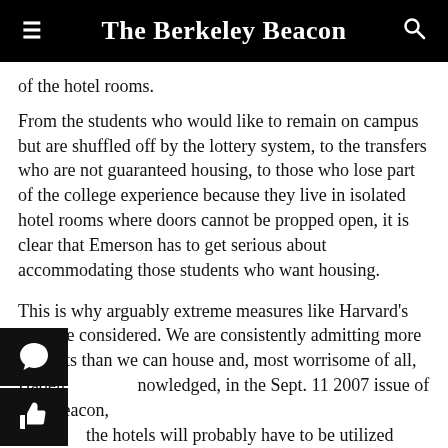The Berkeley Beacon
of the hotel rooms.
From the students who would like to remain on campus but are shuffled off by the lottery system, to the transfers who are not guaranteed housing, to those who lose part of the college experience because they live in isolated hotel rooms where doors cannot be propped open, it is clear that Emerson has to get serious about accommodating those students who want housing.
This is why arguably extreme measures like Harvard's must be considered. We are consistently admitting more students than we can house and, most worrisome of all, Haden acknowledged, in the Sept. 11 2007 issue of The Beacon, the hotels will probably have to be utilized again next r. Accepting fewer students, or pressing the pause button ransfers, might be more than sensible-it might be